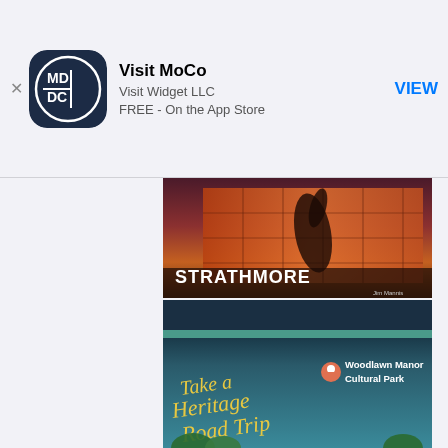[Figure (screenshot): App Store app install banner for 'Visit MoCo' by Visit Widget LLC, free on the App Store, with MD/DC logo icon and VIEW button]
[Figure (photo): Strathmore venue photo at dusk showing a sculpture in front of an illuminated glass building with 'STRATHMORE' text overlay and 'Jim Mannis' credit]
[Figure (infographic): Heritage Road Trip promotional card with dark blue and teal background, Woodlawn Manor Cultural Park label with map pin icon, and 'Take a Heritage Road Trip' script text in golden yellow]